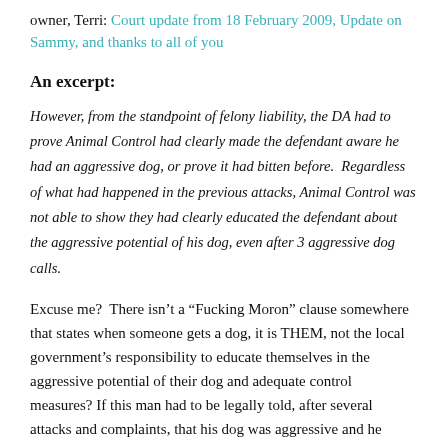owner, Terri: Court update from 18 February 2009, Update on Sammy, and thanks to all of you
An excerpt:
However, from the standpoint of felony liability, the DA had to prove Animal Control had clearly made the defendant aware he had an aggressive dog, or prove it had bitten before. Regardless of what had happened in the previous attacks, Animal Control was not able to show they had clearly educated the defendant about the aggressive potential of his dog, even after 3 aggressive dog calls.
Excuse me? There isn't a “Fucking Moron” clause somewhere that states when someone gets a dog, it is THEM, not the local government’s responsibility to educate themselves in the aggressive potential of their dog and adequate control measures? If this man had to be legally told, after several attacks and complaints, that his dog was aggressive and he should keep it under control, legally he should be kept in a diaper, his driver's